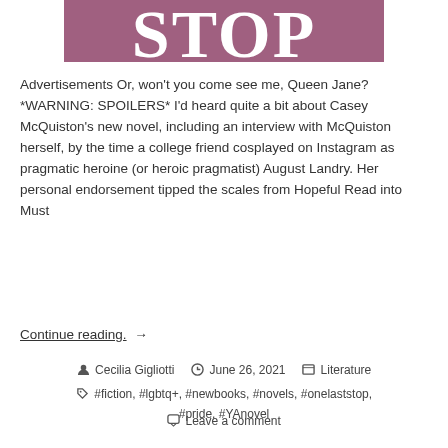[Figure (illustration): Purple/mauve banner with large white bold serif text reading 'STOP' (partially cropped at top)]
Advertisements Or, won't you come see me, Queen Jane? *WARNING: SPOILERS* I'd heard quite a bit about Casey McQuiston's new novel, including an interview with McQuiston herself, by the time a college friend cosplayed on Instagram as pragmatic heroine (or heroic pragmatist) August Landry. Her personal endorsement tipped the scales from Hopeful Read into Must
Continue reading. →
Cecilia Gigliotti   June 26, 2021   Literature
#fiction, #lgbtq+, #newbooks, #novels, #onelaststop, #pride, #YAnovel
Leave a comment